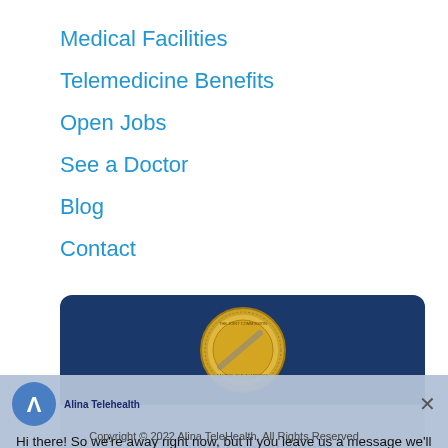Medical Facilities
Telemedicine Benefits
Open Jobs
See a Doctor
Blog
Contact
[Figure (infographic): The Joint Commission's Gold Seal of Approval badge on a dark navy background, with a gold medallion seal in the center top portion and a light blue-grey lower section showing the text 'The Joint Commission's Gold Seal of Approval']
Hi there! So we're away right now, but if you leave us a message we'll get back to you soon.
Copyright © 2022 Alina TeleHealth. All Rights Reserved